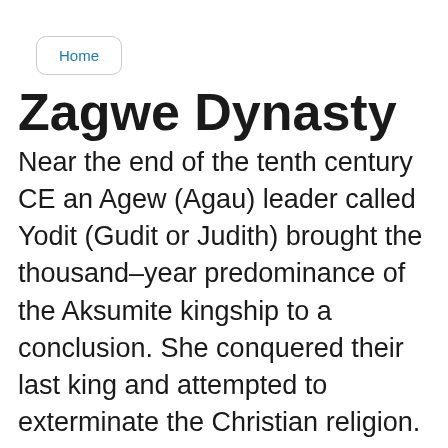Home
Zagwe Dynasty
Near the end of the tenth century CE an Agew (Agau) leader called Yodit (Gudit or Judith) brought the thousand–year predominance of the Aksumite kingship to a conclusion. She conquered their last king and attempted to exterminate the Christian religion. In Abyssinian traditional tales, she